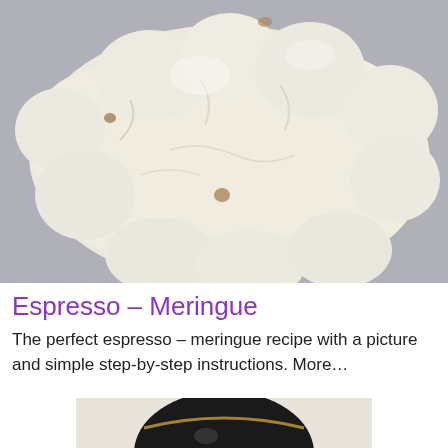[Figure (photo): Close-up photograph of a baked espresso meringue dessert, white and cream-colored, puffy and blob-shaped, resting on a grey surface.]
Espresso – Meringue
The perfect espresso – meringue recipe with a picture and simple step-by-step instructions. More...
[Figure (photo): Partial view of a dark espresso cup or coffee-related item on a light background — only the top portion is visible at the bottom of the page.]